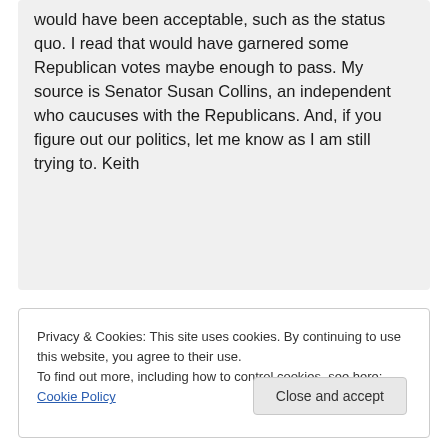would have been acceptable, such as the status quo. I read that would have garnered some Republican votes maybe enough to pass. My source is Senator Susan Collins, an independent who caucuses with the Republicans. And, if you figure out our politics, let me know as I am still trying to. Keith
Privacy & Cookies: This site uses cookies. By continuing to use this website, you agree to their use. To find out more, including how to control cookies, see here: Cookie Policy